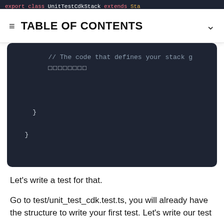[Figure (screenshot): Cropped code snippet showing top of file: export class UnitTestCdkStack extends Sta]
TABLE OF CONTENTS
[Figure (screenshot): Dark-themed code editor block showing: // The code that defines your stack g, placeholder boxes, closing braces }]
Let's write a test for that.
Go to test/unit_test_cdk.test.ts, you will already have the structure to write your first test. Let's write our test :